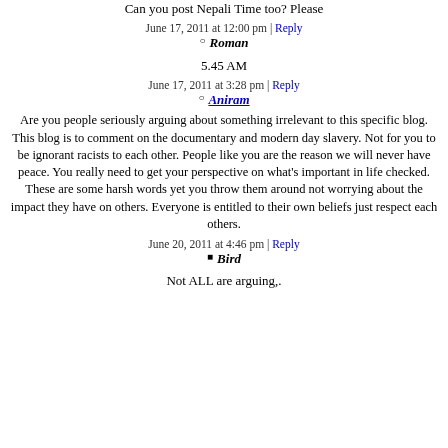Can you post Nepali Time too? Please
June 17, 2011 at 12:00 pm | Reply
Roman
5.45 AM
June 17, 2011 at 3:28 pm | Reply
Aniram
Are you people seriously arguing about something irrelevant to this specific blog. This blog is to comment on the documentary and modern day slavery. Not for you to be ignorant racists to each other. People like you are the reason we will never have peace. You really need to get your perspective on what's important in life checked. These are some harsh words yet you throw them around not worrying about the impact they have on others. Everyone is entitled to their own beliefs just respect each others.
June 20, 2011 at 4:46 pm | Reply
Bird
Not ALL are arguing,.